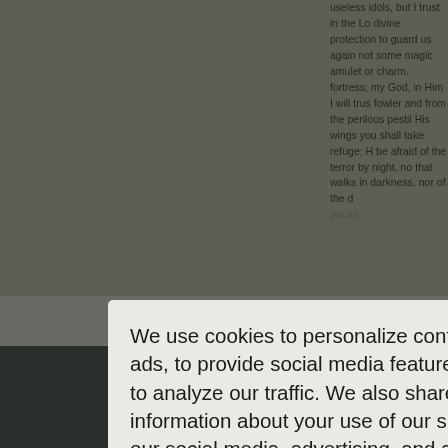useless idols, but I trust in the Lord divine protection to guard us again not some magic amulet or charm. fortress; my God, in Him I will trust fowler and from the perilous pestle His wings you shall take refuge; Hi be afraid of the terror by night, nor that walks in darkness, nor of the d (NKJV).
If we feel a need for protection from better to offer than amulets and us you can take your stand against th faith buckled around your waist, w your feet fitted with the readiness t this, take up the shield of faith, with the helmet of sa of God" (Ephesians 6:11, 14-17, N
We use cookies to personalize content and ads, to provide social media features, and to analyze our traffic. We also share information about your use of our site with our social media, advertising, and analytics partners.
Cookie Settings
Accept All Cookies